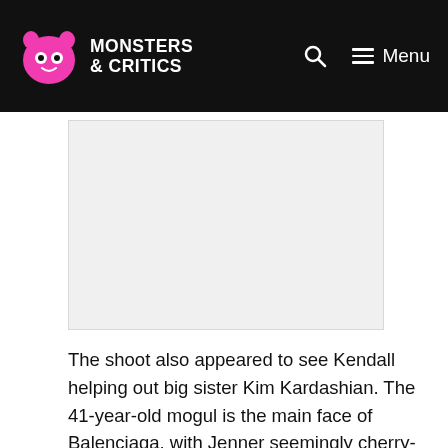MONSTERS & CRITICS
[Figure (other): Advertisement placeholder area (grey box)]
The shoot also appeared to see Kendall helping out big sister Kim Kardashian. The 41-year-old mogul is the main face of Balenciaga, with Jenner seemingly cherry-picking the celeb-adored brand for her undies image.
Jenner also honored mom Kris Jenner via Mugler, a brand Kim donned for the 2019 Met Gala. Kendall was the last of her famous sisters to launch her own, fully-fledged brand. Kendall